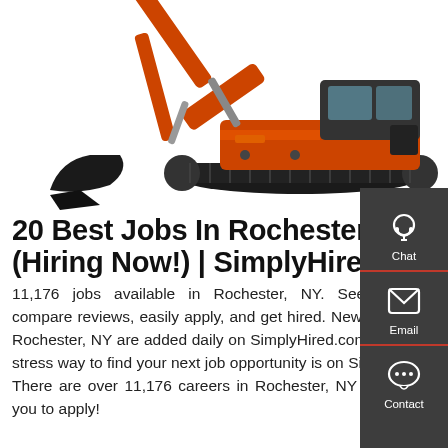[Figure (photo): Orange excavator/construction equipment shown against white background]
20 Best Jobs In Rochester, NY (Hiring Now!) | SimplyHired
11,176 jobs available in Rochester, NY. See salaries, compare reviews, easily apply, and get hired. New careers in Rochester, NY are added daily on SimplyHired.com. The low-stress way to find your next job opportunity is on SimplyHired. There are over 11,176 careers in Rochester, NY waiting for you to apply!